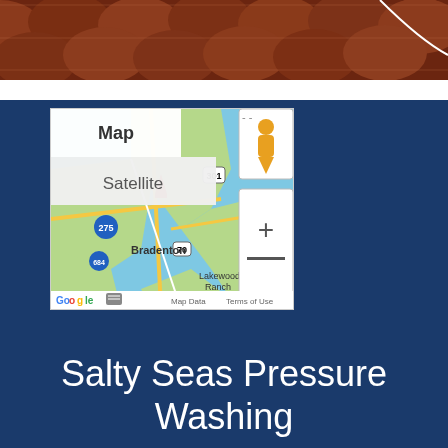[Figure (photo): Close-up photo of terracotta/clay roof tiles, reddish-brown color]
[Figure (screenshot): Google Maps screenshot showing Bradenton, FL area with map/satellite toggle, street marker, zoom controls, and labels for Bradenton, Lakewood Ranch, highways 275, 301, 684, 70]
Salty Seas Pressure Washing